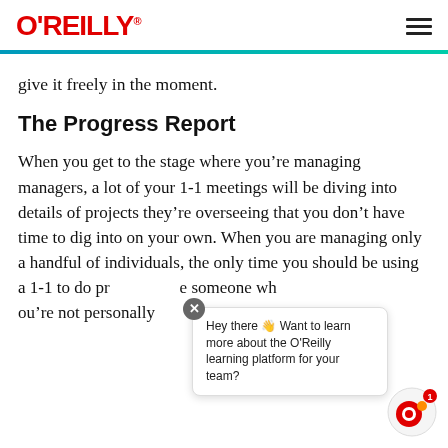O'REILLY
give it freely in the moment.
The Progress Report
When you get to the stage where you’re managing managers, a lot of your 1-1 meetings will be diving into details of projects they’re overseeing that you don’t have time to dig into on your own. When you are managing only a handful of individuals, the only time you should be using a 1-1 to do progress reports is if you have someone wh… you’re not personally… or this